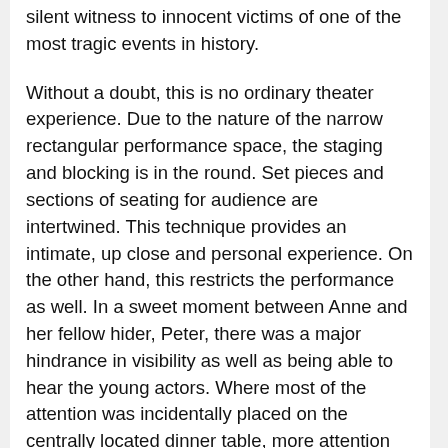silent witness to innocent victims of one of the most tragic events in history.
Without a doubt, this is no ordinary theater experience. Due to the nature of the narrow rectangular performance space, the staging and blocking is in the round. Set pieces and sections of seating for audience are intertwined. This technique provides an intimate, up close and personal experience. On the other hand, this restricts the performance as well. In a sweet moment between Anne and her fellow hider, Peter, there was a major hindrance in visibility as well as being able to hear the young actors. Where most of the attention was incidentally placed on the centrally located dinner table, more attention should have been drawn to the action occurring between the two younger actors.
In his curtain speech, director Bryce Blair informs his audience of a few house rules concerning intermission